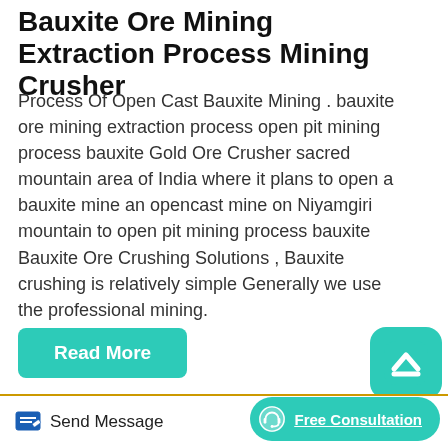Bauxite Ore Mining Extraction Process Mining Crusher
Process Of Open Cast Bauxite Mining . bauxite ore mining extraction process open pit mining process bauxite Gold Ore Crusher sacred mountain area of India where it plans to open a bauxite mine an opencast mine on Niyamgiri mountain to open pit mining process bauxite Bauxite Ore Crushing Solutions , Bauxite crushing is relatively simple Generally we use the professional mining.
[Figure (other): Teal rounded square scroll-to-top button with upward chevron icon]
Read More
[Figure (photo): Mountain covered in dense green forest trees against a dark silhouette landscape]
Send Message   Free Consultation